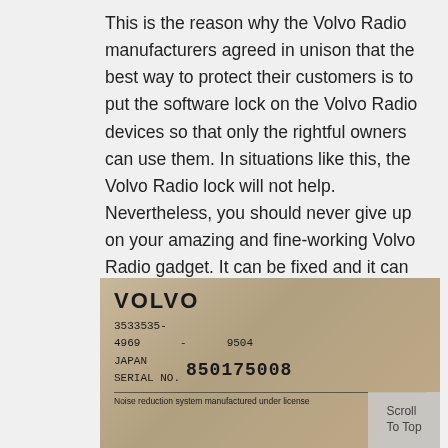This is the reason why the Volvo Radio manufacturers agreed in unison that the best way to protect their customers is to put the software lock on the Volvo Radio devices so that only the rightful owners can use them. In situations like this, the Volvo Radio lock will not help. Nevertheless, you should never give up on your amazing and fine-working Volvo Radio gadget. It can be fixed and it can be fixed right now and for a very small fee.
[Figure (photo): Photo of a Volvo radio unit label showing: VOLVO, part number 3533535-4969, 9504, JAPAN, SERIAL NO. 850175008, and text 'Noise reduction system manufactured under license']